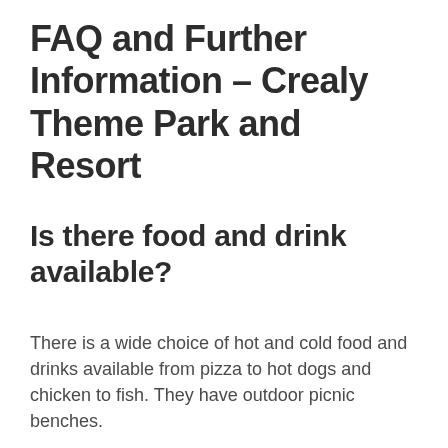FAQ and Further Information – Crealy Theme Park and Resort
Is there food and drink available?
There is a wide choice of hot and cold food and drinks available from pizza to hot dogs and chicken to fish. They have outdoor picnic benches.